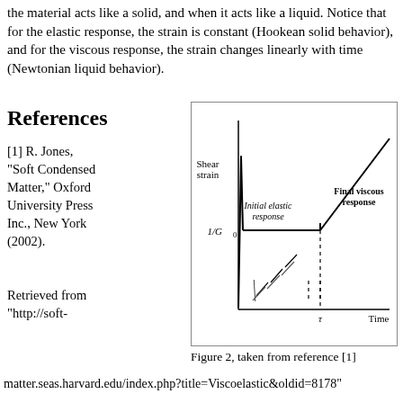the material acts like a solid, and when it acts like a liquid. Notice that for the elastic response, the strain is constant (Hookean solid behavior), and for the viscous response, the strain changes linearly with time (Newtonian liquid behavior).
References
[1] R. Jones, "Soft Condensed Matter," Oxford University Press Inc., New York (2002).
[Figure (continuous-plot): Graph showing shear strain vs time for a viscoelastic material. The y-axis is labeled 'Shear strain' and the x-axis is labeled 'Time'. A dashed vertical line at time τ divides the plot into two regions: 'Initial elastic response' (flat/horizontal plateau at level 1/G0) and 'Final viscous response' (linearly increasing). Dashed diagonal lines in the lower portion suggest the transition. The value 1/G0 is marked on the y-axis.]
Figure 2, taken from reference [1]
Retrieved from "http://soft-matter.seas.harvard.edu/index.php?title=Viscoelastic&oldid=8178"